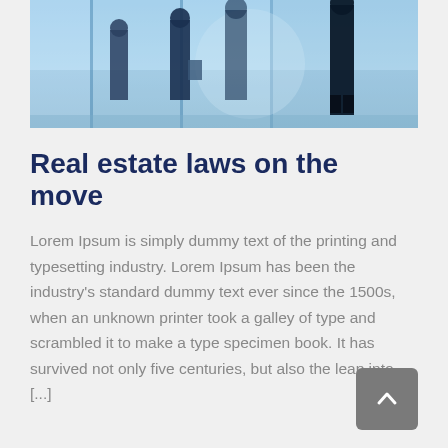[Figure (photo): Silhouettes of people walking through glass panels or reflective surfaces, blue-tinted photograph taken from a low angle showing legs and feet]
Real estate laws on the move
Lorem Ipsum is simply dummy text of the printing and typesetting industry. Lorem Ipsum has been the industry's standard dummy text ever since the 1500s, when an unknown printer took a galley of type and scrambled it to make a type specimen book. It has survived not only five centuries, but also the leap into [...]